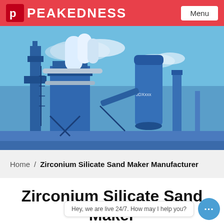PEAKEDNESS  Menu
[Figure (photo): Industrial blue sand maker / asphalt mixing plant equipment with tall towers, conveyors, and industrial tanks against a blue sky]
Home / Zirconium Silicate Sand Maker Manufacturer
Zirconium Silicate Sand Maker Manufacturer
Hey, we are live 24/7. How may I help you?